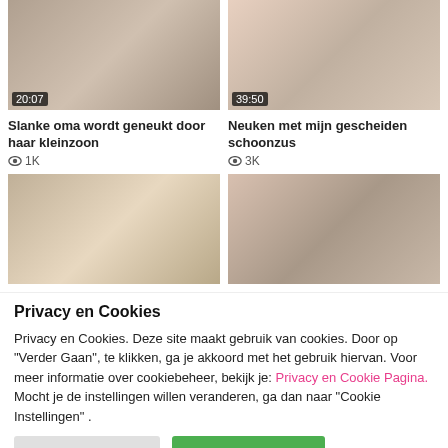[Figure (screenshot): Video thumbnail left top with duration 20:07]
[Figure (screenshot): Video thumbnail right top with duration 39:50]
Slanke oma wordt geneukt door haar kleinzoon
Neuken met mijn gescheiden schoonzus
👁 1K
👁 3K
[Figure (screenshot): Video thumbnail bottom left]
[Figure (screenshot): Video thumbnail bottom right]
Privacy en Cookies
Privacy en Cookies. Deze site maakt gebruik van cookies. Door op "Verder Gaan", te klikken, ga je akkoord met het gebruik hiervan. Voor meer informatie over cookiebeheer, bekijk je: Privacy en Cookie Pagina. Mocht je de instellingen willen veranderen, ga dan naar "Cookie Instellingen" .
Cookie Instellingen
Alles Accepteren